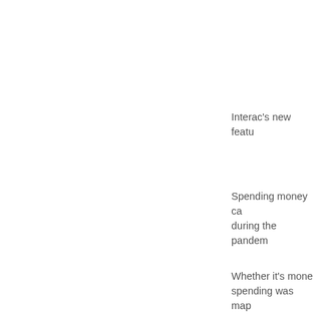Interac's new featu
Spending money ca during the pandem
Whether it's mone spending was map
Sounds of Spendin Interac's soundtra translates into a ca
When the pandem later, in April 2020, travel and entertai
But staying home